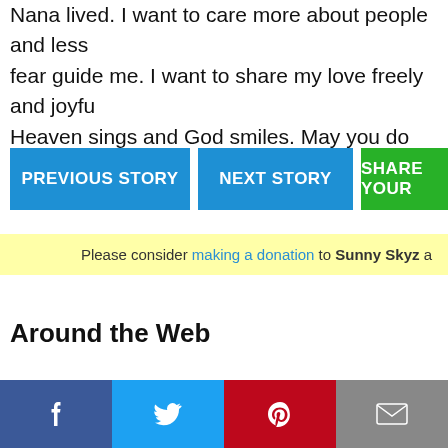Nana lived. I want to care more about people and less fear guide me. I want to share my love freely and joyfu Heaven sings and God smiles. May you do the same.
PREVIOUS STORY
NEXT STORY
SHARE YOUR
Please consider making a donation to Sunny Skyz a
Around the Web
Facebook  Twitter  Pinterest  Email